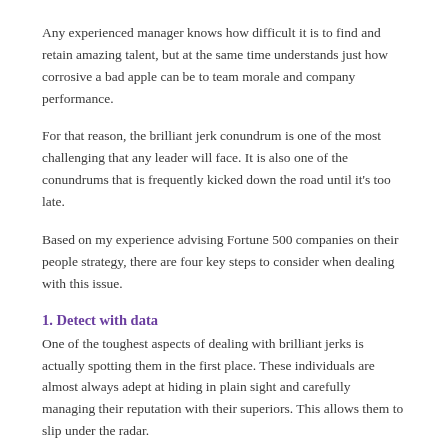Any experienced manager knows how difficult it is to find and retain amazing talent, but at the same time understands just how corrosive a bad apple can be to team morale and company performance.
For that reason, the brilliant jerk conundrum is one of the most challenging that any leader will face. It is also one of the conundrums that is frequently kicked down the road until it’s too late.
Based on my experience advising Fortune 500 companies on their people strategy, there are four key steps to consider when dealing with this issue.
1. Detect with data
One of the toughest aspects of dealing with brilliant jerks is actually spotting them in the first place. These individuals are almost always adept at hiding in plain sight and carefully managing their reputation with their superiors. This allows them to slip under the radar.